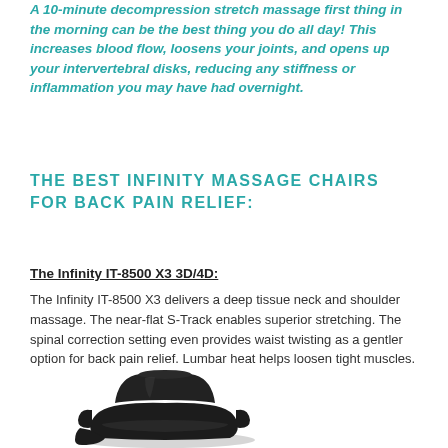A 10-minute decompression stretch massage first thing in the morning can be the best thing you do all day! This increases blood flow, loosens your joints, and opens up your intervertebral disks, reducing any stiffness or inflammation you may have had overnight.
THE BEST INFINITY MASSAGE CHAIRS FOR BACK PAIN RELIEF:
The Infinity IT-8500 X3 3D/4D:
The Infinity IT-8500 X3 delivers a deep tissue neck and shoulder massage. The near-flat S-Track enables superior stretching. The spinal correction setting even provides waist twisting as a gentler option for back pain relief. Lumbar heat helps loosen tight muscles.
[Figure (photo): Black leather Infinity IT-8500 X3 massage chair shown in a reclined position]